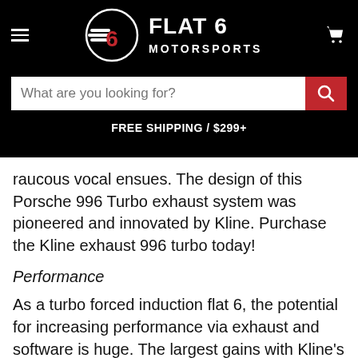[Figure (logo): Flat 6 Motorsports logo with hamburger menu on left and shopping cart icon on right, on black background]
What are you looking for?
FREE SHIPPING / $299+
raucous vocal ensues. The design of this Porsche 996 Turbo exhaust system was pioneered and innovated by Kline. Purchase the Kline exhaust 996 turbo today!
Performance
As a turbo forced induction flat 6, the potential for increasing performance via exhaust and software is huge. The largest gains with Kline's turbo exhaust setup are 42hp and 65nm. In conjunction with software they achieved 75hp and 102nm.